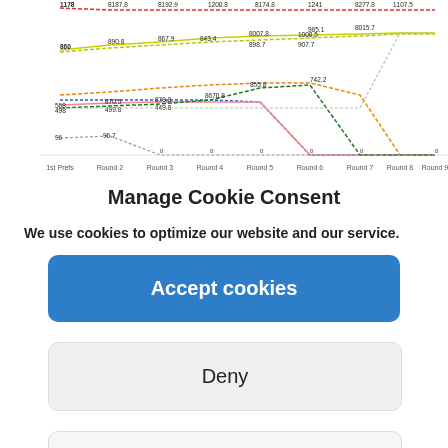[Figure (line-chart): Scottish STV election vote transfer chart showing multiple candidate lines across rounds 1-9. Candidates include SNP (Stuart Currie), SNP (John Williamson), Labour (Andy Forrest), Labour (Katherine Sangster), Conservative (Katie Mackie), Lib Dem (Clare Graham), Green (Jason Rose), Independent (John Caldwell), Independent (Theresa Sives). Lines plotted from 1st Prefs through Round 9 with various vote totals annotated.]
Manage Cookie Consent
We use cookies to optimize our website and our service.
Accept cookies
Deny
View preferences